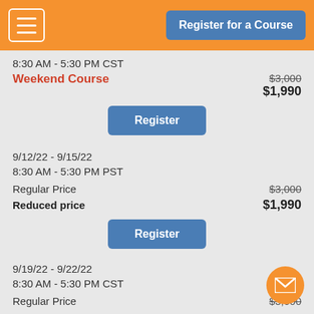Register for a Course
8:30 AM - 5:30 PM CST
Weekend Course  $3,000  $1,990
Register
9/12/22 - 9/15/22
8:30 AM - 5:30 PM PST
Regular Price  $3,000
Reduced price  $1,990
Register
9/19/22 - 9/22/22
8:30 AM - 5:30 PM CST
Regular Price  $3,000